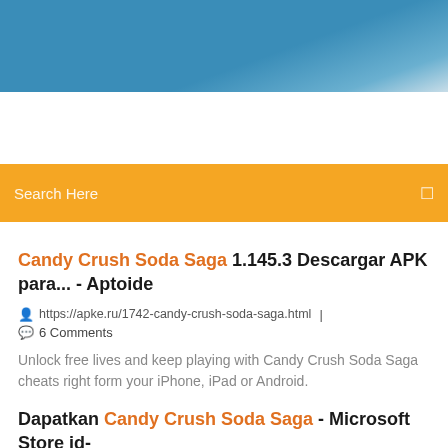[Figure (photo): Blue sky background image used as page header banner]
Search Here
Candy Crush Soda Saga 1.145.3 Descargar APK para... - Aptoide
https://apke.ru/1742-candy-crush-soda-saga.html  |  6 Comments
Unlock free lives and keep playing with Candy Crush Soda Saga cheats right form your iPhone, iPad or Android.
Dapatkan Candy Crush Soda Saga - Microsoft Store id-